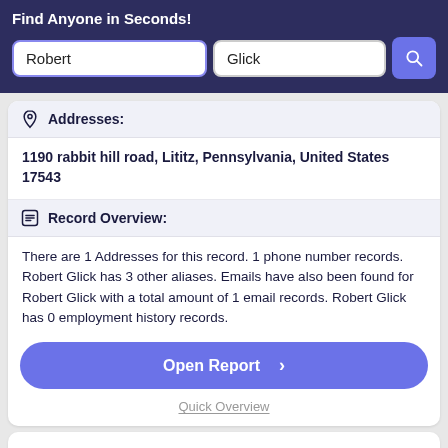Find Anyone in Seconds!
Robert
Glick
Addresses:
1190 rabbit hill road, Lititz, Pennsylvania, United States 17543
Record Overview:
There are 1 Addresses for this record. 1 phone number records. Robert Glick has 3 other aliases. Emails have also been found for Robert Glick with a total amount of 1 email records. Robert Glick has 0 employment history records.
Open Report >
Quick Overview